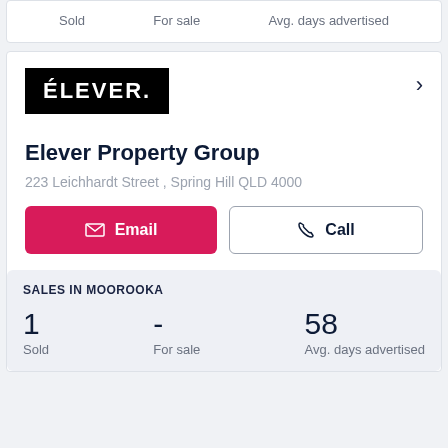| Sold | For sale | Avg. days advertised |
| --- | --- | --- |
|  |
[Figure (logo): ÉLEVER. logo — white text on black background]
Elever Property Group
223 Leichhardt Street , Spring Hill QLD 4000
Email  Call
SALES IN MOOROOKA
| Sold | For sale | Avg. days advertised |
| --- | --- | --- |
| 1 | - | 58 |